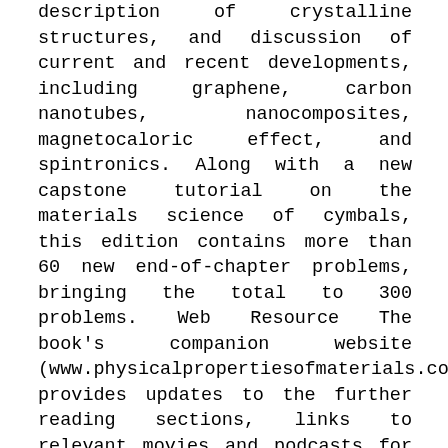description of crystalline structures, and discussion of current and recent developments, including graphene, carbon nanotubes, nanocomposites, magnetocaloric effect, and spintronics. Along with a new capstone tutorial on the materials science of cymbals, this edition contains more than 60 new end-of-chapter problems, bringing the total to 300 problems. Web Resource The book's companion website (www.physicalpropertiesofmaterials.com) provides updates to the further reading sections, links to relevant movies and podcasts for each chapter, video demonstrations, and additional problems. It also offers sources of demonstration materials for lectures and PowerPoint slides of figures